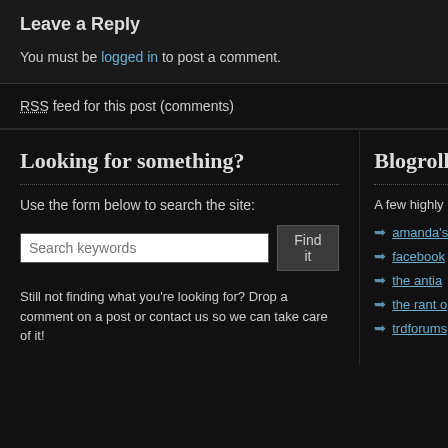Leave a Reply
You must be logged in to post a comment.
RSS feed for this post (comments)
Looking for something?
Use the form below to search the site:
Still not finding what you're looking for? Drop a comment on a post or contact us so we can take care of it!
Blogroll
A few highly
amanda's
facebook
the antia
the rant o
trdforums